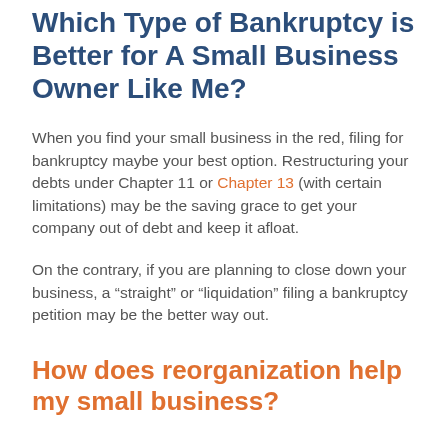Which Type of Bankruptcy is Better for A Small Business Owner Like Me?
When you find your small business in the red, filing for bankruptcy maybe your best option. Restructuring your debts under Chapter 11 or Chapter 13 (with certain limitations) may be the saving grace to get your company out of debt and keep it afloat.
On the contrary, if you are planning to close down your business, a “straight” or “liquidation” filing a bankruptcy petition may be the better way out.
How does reorganization help my small business?